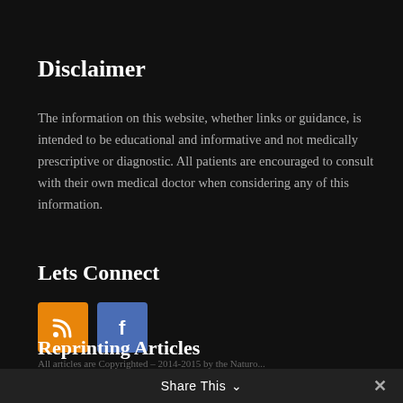Disclaimer
The information on this website, whether links or guidance, is intended to be educational and informative and not medically prescriptive or diagnostic. All patients are encouraged to consult with their own medical doctor when considering any of this information.
Lets Connect
[Figure (illustration): RSS feed icon (orange square) and Facebook icon (blue square)]
Reprinting Articles
All articles are Copyrighted – 2014-2015 by the Naturo...
Share This ∨  ✕